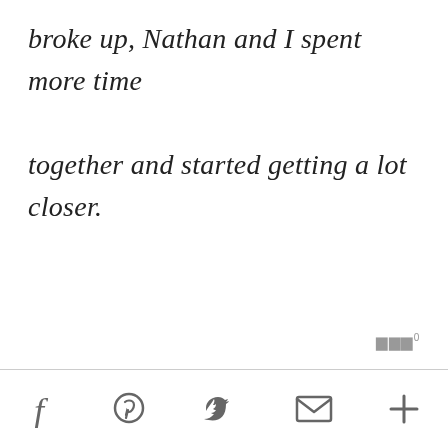broke up, Nathan and I spent more time together and started getting a lot closer.
Social sharing bar with Facebook, Pinterest, Twitter, Email, and More icons